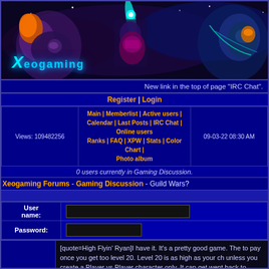[Figure (illustration): Xeogaming website banner with sci-fi/gaming artwork showing armored characters and space background, with 'Xeogaming' logo in cyan text]
New link in the top of page "IRC Chat".
Register | Login
| Views | Navigation Links | Date/Time |
| --- | --- | --- |
| Views: 109482256 | Main | Memberlist | Active users | Calendar | Last Posts | IRC Chat | Online users | Ranks | FAQ | XPW | Stats | Color Chart | Photo album | 09-03-22 08:30 AM |
0 users currently in Gaming Discussion.
Xeogaming Forums - Gaming Discussion - Guild Wars?
User name:
Password:
[quote=High Flyin' Ryan]I have it. It's a pretty good game. The to pay once you get too level 20. Level 20 is as high as your ch unless you create a Player vs Player character only. It can get went back to playing Everquest II. >_>[/quote]